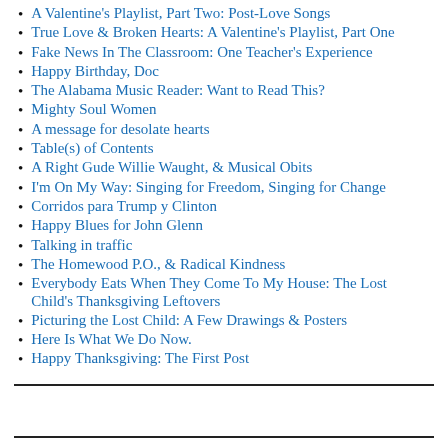A Valentine's Playlist, Part Two: Post-Love Songs
True Love & Broken Hearts: A Valentine's Playlist, Part One
Fake News In The Classroom: One Teacher's Experience
Happy Birthday, Doc
The Alabama Music Reader: Want to Read This?
Mighty Soul Women
A message for desolate hearts
Table(s) of Contents
A Right Gude Willie Waught, & Musical Obits
I'm On My Way: Singing for Freedom, Singing for Change
Corridos para Trump y Clinton
Happy Blues for John Glenn
Talking in traffic
The Homewood P.O., & Radical Kindness
Everybody Eats When They Come To My House: The Lost Child's Thanksgiving Leftovers
Picturing the Lost Child: A Few Drawings & Posters
Here Is What We Do Now.
Happy Thanksgiving: The First Post